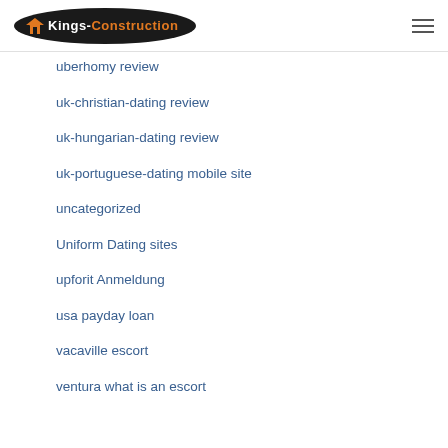Kings-Construction
uberhomy review
uk-christian-dating review
uk-hungarian-dating review
uk-portuguese-dating mobile site
uncategorized
Uniform Dating sites
upforit Anmeldung
usa payday loan
vacaville escort
ventura what is an escort